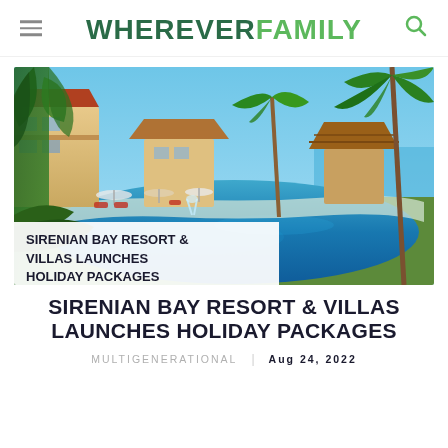WHEREVER FAMILY
[Figure (photo): Aerial view of a tropical resort with a large swimming pool, palm trees, thatched huts, and ocean in the background. A white banner overlay at the bottom left reads 'SIRENIAN BAY RESORT & VILLAS LAUNCHES HOLIDAY PACKAGES'.]
SIRENIAN BAY RESORT & VILLAS LAUNCHES HOLIDAY PACKAGES
MULTIGENERATIONAL   AUG 24, 2022